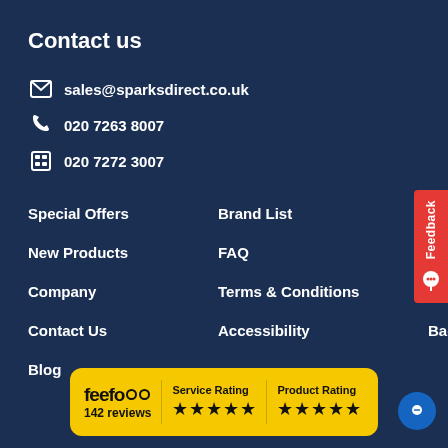Contact us
sales@sparksdirect.co.uk
020 7263 8007
020 7272 3007
Special Offers
Brand List
Site Map
New Products
FAQ
Vacancies
Company
Terms & Conditions
Privacy Notice
Contact Us
Accessibility
Back to top ↑
Blog
[Figure (logo): Feefo rating badge showing 142 reviews, Service Rating 5 stars, Product Rating 5 stars]